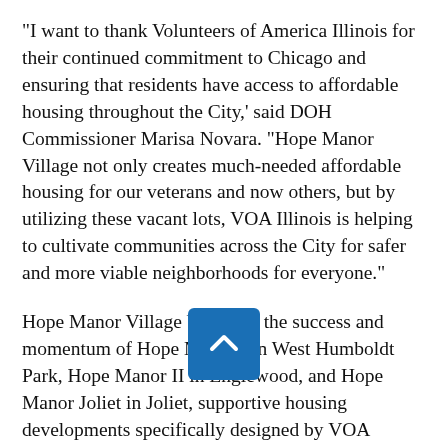“I want to thank Volunteers of America Illinois for their continued commitment to Chicago and ensuring that residents have access to affordable housing throughout the City,’ said DOH Commissioner Marisa Novara. “Hope Manor Village not only creates much-needed affordable housing for our veterans and now others, but by utilizing these vacant lots, VOA Illinois is helping to cultivate communities across the City for safer and more viable neighborhoods for everyone.”
Hope Manor Village builds on the success and momentum of Hope Manor I in West Humboldt Park, Hope Manor II in Englewood, and Hope Manor Joliet in Joliet, supportive housing developments specifically designed by VOA Illinois for Veterans. Hope Manor Village residents will have access to the many services available at Hope Manor II, such as employment training and multi-generational youth programs (targeting both children and adults), strength-based,